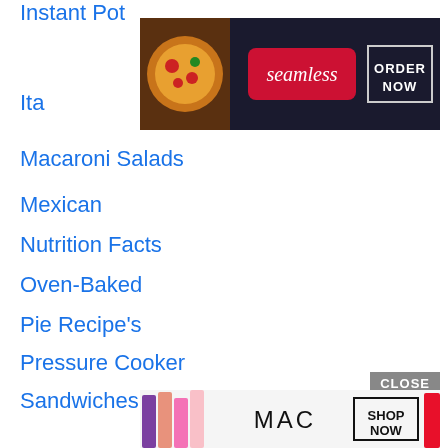Instant Pot
[Figure (screenshot): Seamless food delivery ad banner with pizza image, Seamless logo in red, and ORDER NOW button in white border on dark background]
Ita...
Macaroni Salads
Mexican
Nutrition Facts
Oven-Baked
Pie Recipe's
Pressure Cooker
Sandwiches
seasonal recipes
Side Dish
Simple Recipes
sl...
[Figure (screenshot): MAC cosmetics ad banner with colorful lipsticks, MAC logo, and SHOP NOW button, with CLOSE button above]
s...